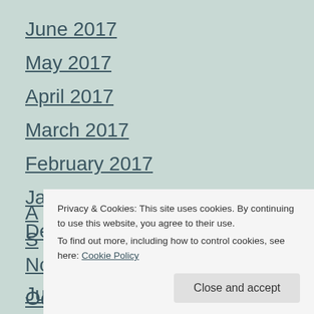June 2017
May 2017
April 2017
March 2017
February 2017
January 2017
December 2016
November 2016
October 2016
S[partially hidden]
A[partially hidden]
S[partially hidden]
June 2016
Privacy & Cookies: This site uses cookies. By continuing to use this website, you agree to their use.
To find out more, including how to control cookies, see here: Cookie Policy